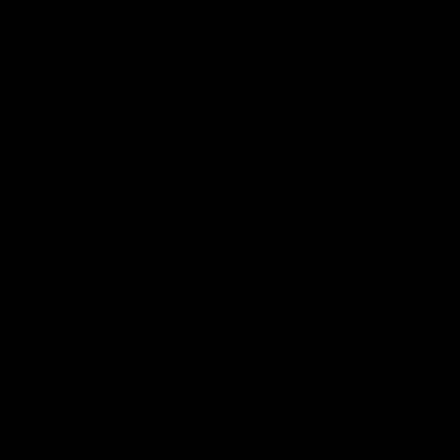The Sun God--Ancient Echoes EP (Klang 97)-c
The Sun God - Scene 3 (Jack-FM 03)-Vinyl-20
The Sun Project--Lites-(EMS-04)-Vinyl-2000-c
The Sun Warriors-EP-WEB-2012-ALKi
The Sunburst Band-Bt and Yamwho Mixes-Li
The Sunburst Band-Fly Away-SB004-Limited
The Sunburst Band-Journey To The Sun Denn
The Sunburst Band-Journey To The Sun Denn
The Sunburst Band-Rough Times EP (Incl. Ian
The Sunchasers--Ecstasy (Including Gilbert Lo
The Sunchasers--House Be Good To Me-(LMF
The Sunchasers-Heartbreakin-WEB-2014-FAI
The Sunchasers-SWEET DREAMS-(KOG046
The Sunchasers-Technologic EP-GBM014-WE
The Sunchasers - Dance For Me-WEB-2014-iD
The Sunrise-Beautiful Life-SBR056-WEB-201
The Sunrise-Solarity-SMR026-WEB-2013-BPM
The Sunshine Police-My Girlfriend Is A DJ-SP
The Supanova Project - Take It Over (Dave Ec
The Super-Phonics-Dial L for Love-(FAV01)-W
The Super-Phonics-Dial L For Love (Incl. Bah
The Superdeejays-Goldeneye 2012-(IPLAY078
The Superman Lovers-Bus Stop (LAF018)-Vir
The Supermen Lovers-Fantasma Disco EP-(30
The Supermen Lovers-Starlight-UK CDM-200